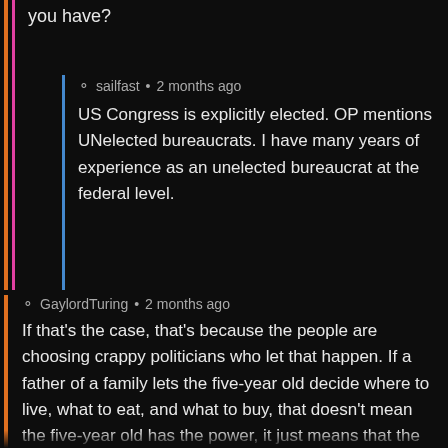you have?
sailfast • 2 months ago
US Congress is explicitly elected. OP mentions UNelected bureaucrats. I have many years of experience as an unelected bureaucrat at the federal level.
GaylordTuring • 2 months ago
If that's the case, that's because the people are choosing crappy politicians who let that happen. If a father of a family lets the five-year old decide where to live, what to eat, and what to buy, that doesn't mean the five-year old has the power, it just means that the father has voluntarily given the power to him. However, he could take it back whenever he felt like it.